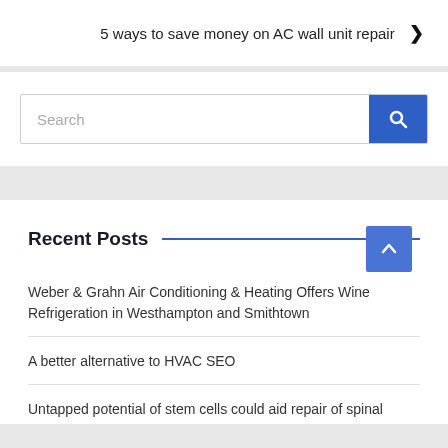5 ways to save money on AC wall unit repair ❯
[Figure (screenshot): Search bar with blue search button containing a magnifying glass icon and placeholder text 'Search']
Recent Posts
Weber & Grahn Air Conditioning & Heating Offers Wine Refrigeration in Westhampton and Smithtown
A better alternative to HVAC SEO
Untapped potential of stem cells could aid repair of spinal